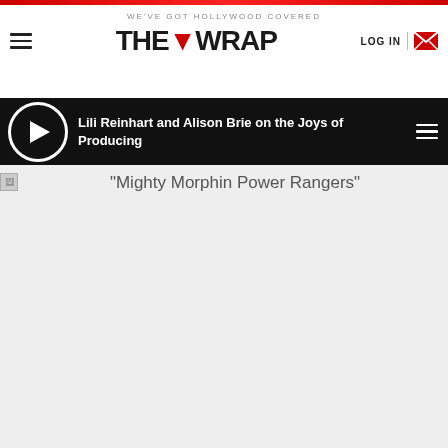WE'VE GOT HOLLYWOOD COVERED — THE WRAP
Lili Reinhart and Alison Brie on the Joys of Producing
[Figure (screenshot): Broken image placeholder for Mighty Morphin Power Rangers]
"Mighty Morphin Power Rangers"